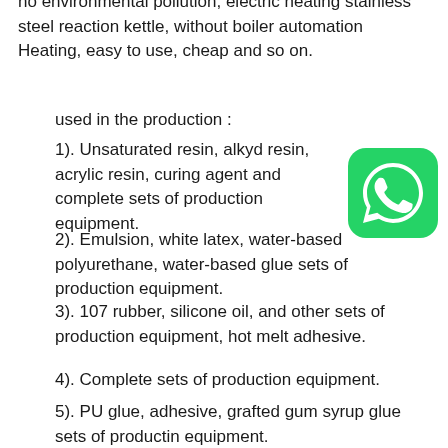no environmental pollution, electric heating stainless steel reaction kettle, without boiler automation Heating, easy to use, cheap and so on.
used in the production :
1). Unsaturated resin, alkyd resin, acrylic resin, curing agent and complete sets of production equipment.
[Figure (logo): WhatsApp logo icon, green rounded square with white phone/speech bubble symbol]
2). Emulsion, white latex, water-based polyurethane, water-based glue sets of production equipment.
3). 107 rubber, silicone oil, and other sets of production equipment, hot melt adhesive.
4). Complete sets of production equipment.
5). PU glue, adhesive, grafted gum syrup glue sets of productin equipment.